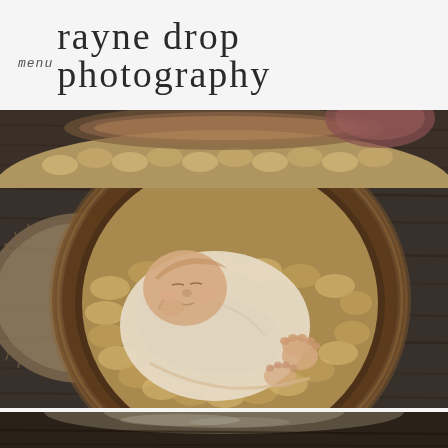menu rayne drop photography
[Figure (photo): Top strip: overhead view of chunky knit blanket and wooden bowl top, warm browns and tans]
[Figure (photo): Main photo: newborn baby wrapped in cream/beige swaddle, sleeping peacefully curled in a round wooden bowl lined with chunky knit blanket, on dark wood floor background, shot from above]
[Figure (photo): Bottom strip: partial view of another newborn photograph, dark background]